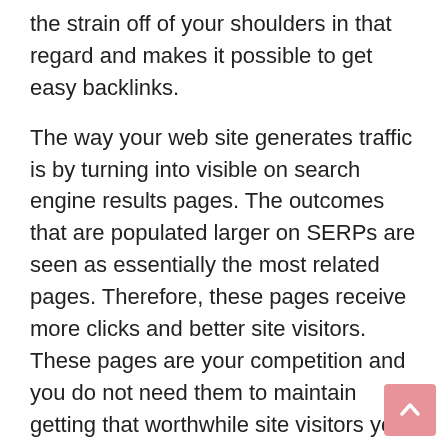the strain off of your shoulders in that regard and makes it possible to get easy backlinks.

The way your web site generates traffic is by turning into visible on search engine results pages. The outcomes that are populated larger on SERPs are seen as essentially the most related pages. Therefore, these pages receive more clicks and better site visitors. These pages are your competition and you do not need them to maintain getting that worthwhile site visitors your online business could possibly be receiving. The answer: our advertising company has designed a search engine optimization service that is both ethical and result-driven. We use the newest instruments, methods, and traits that can assist you transfer